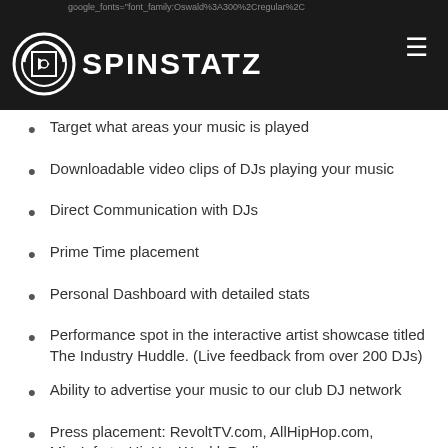SPINSTATZ — navigation header with logo
Target what areas your music is played
Downloadable video clips of DJs playing your music
Direct Communication with DJs
Prime Time placement
Personal Dashboard with detailed stats
Performance spot in the interactive artist showcase titled The Industry Huddle. (Live feedback from over 200 DJs)
Ability to advertise your music to our club DJ network
Press placement: RevoltTV.com, AllHipHop.com, MissInfo.tv, HipHopWeeklyRadio.com,